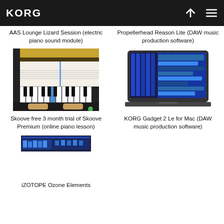KORG
AAS Lounge Lizard Session (electric piano sound module)
Propellerhead Reason Lite (DAW music production software)
[Figure (screenshot): Skoove online piano lesson software screenshot showing sheet music and piano keys]
[Figure (screenshot): KORG Gadget 2 Le for Mac DAW software screenshot on a MacBook]
Skoove free 3 month trial of Skoove Premium (online piano lesson)
KORG Gadget 2 Le for Mac (DAW music production software)
[Figure (screenshot): iZotope Ozone Elements software interface screenshot]
iZOTOPE Ozone Elements